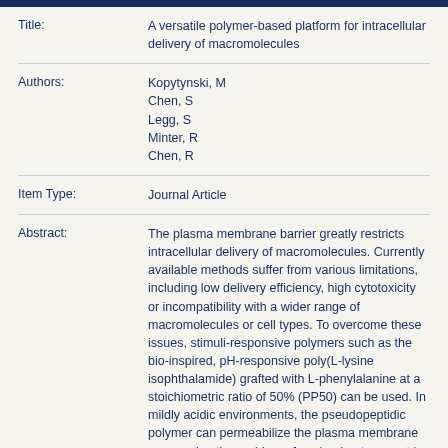Title: A versatile polymer-based platform for intracellular delivery of macromolecules
Authors: Kopytynski, M; Chen, S; Legg, S; Minter, R; Chen, R
Item Type: Journal Article
Abstract: The plasma membrane barrier greatly restricts intracellular delivery of macromolecules. Currently available methods suffer from various limitations, including low delivery efficiency, high cytotoxicity or incompatibility with a wider range of macromolecules or cell types. To overcome these issues, stimuli-responsive polymers such as the bio-inspired, pH-responsive poly(L-lysine isophthalamide) grafted with L-phenylalanine at a stoichiometric ratio of 50% (PP50) can be used. In mildly acidic environments, the pseudopeptidic polymer can permeabilize the plasma membrane overcoming the problem of payload entrapment in the endosomes and allowing for efficient intracellular delivery. Here, we report that PP50...